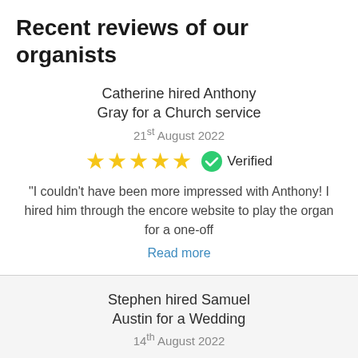Recent reviews of our organists
Catherine hired Anthony Gray for a Church service
21st August 2022
[Figure (infographic): 5 gold stars rating and a green verified badge with checkmark and text 'Verified']
“I couldn’t have been more impressed with Anthony! I hired him through the encore website to play the organ for a one-off
Read more
Stephen hired Samuel Austin for a Wedding
14th August 2022